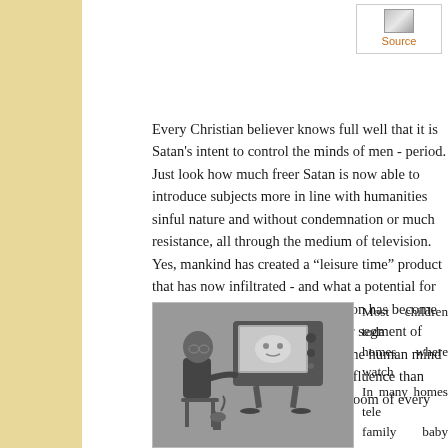[Figure (other): Source link box with small image icon and orange 'Source' text label]
Every Christian believer knows full well that it is Satan's intent to control the minds of men - period. Just look how much freer Satan is now able to introduce subjects more in line with humanities sinful nature and without condemnation or much resistance, all through the medium of television. Yes, mankind has created a "leisure time" product that has now infiltrated - and what a potential for leading the masses astray. Television has become the corrupting influence of a major segment of earth's society. Television affects the human mind and heart. What better source of influence than one that goes right into the living room of every home?
[Figure (photo): Black and white photograph of a young boy sitting on a stool watching an old-fashioned television set on a stand]
Most children toda... homes where watch... In many homes tel... family baby sitter... Christian homes a... reading this comme... programmed televis... effect on humanity?... has had a positive ef... Ron, we have to t...